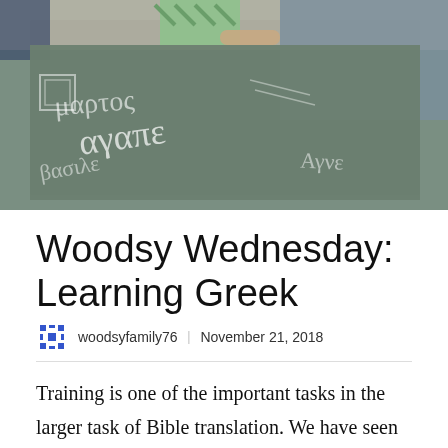[Figure (photo): Photo of children writing Greek words with chalk on a large dark chalkboard surface, viewed from above]
Woodsy Wednesday: Learning Greek
woodsyfamily76  |  November 21, 2018
Training is one of the important tasks in the larger task of Bible translation. We have seen the value of understanding Biblical Greek for my particular work of as a Translation advisor and Consultant Trainee, therefore we value that the Translators we work would grow in